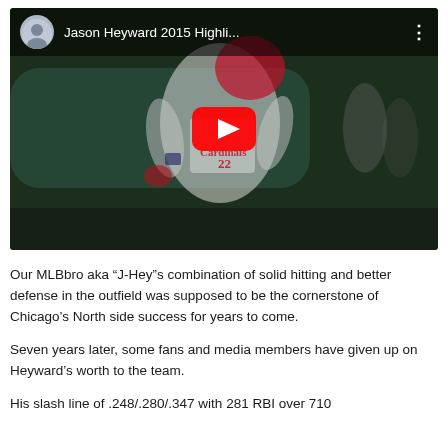[Figure (screenshot): YouTube video thumbnail showing Jason Heyward #22 in a St. Louis Cardinals uniform running, with a YouTube play button overlay and a top bar showing the channel avatar and title 'Jason Heyward 2015 Highli...']
Our MLBbro aka “J-Hey”s combination of solid hitting and better defense in the outfield was supposed to be the cornerstone of Chicago’s North side success for years to come.
Seven years later, some fans and media members have given up on Heyward’s worth to the team.
His slash line of .248/.280/.347 with 281 RBI over 710